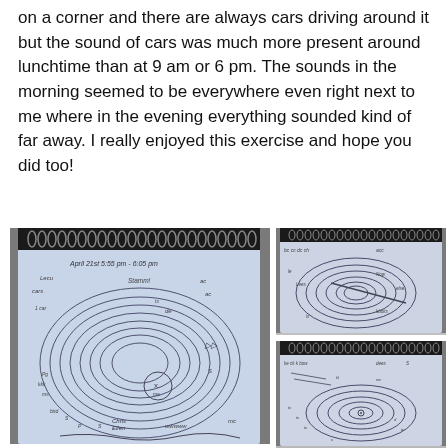on a corner and there are always cars driving around it but the sound of cars was much more present around lunchtime than at 9 am or 6 pm. The sounds in the morning seemed to be everywhere even right next to me where in the evening everything sounded kind of far away. I really enjoyed this exercise and hope you did too!
[Figure (photo): Three photographs of hand-drawn sound map sketches on blue notebook paper with spiral binding. Left: large sketch dated April 21st 5:55 pm - 6:05 pm with concentric swirling lines and handwritten labels. Top right: similar sound map sketch. Bottom right: another sound map sketch.]